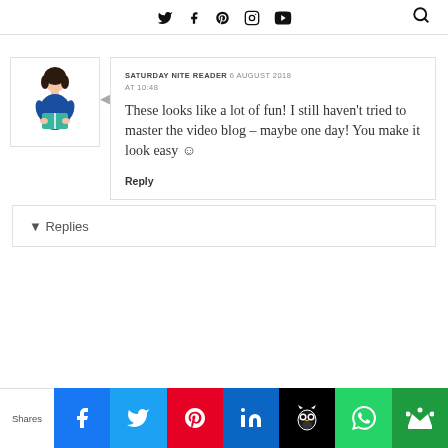Social icons: Twitter, Facebook, Pinterest, Instagram, YouTube, Search
These looks like a lot of fun! I still haven't tried to master the video blog – maybe one day! You make it look easy 🙂
Reply
▾ Replies
Shares | Facebook | Twitter | Pinterest | LinkedIn | Hootsuite | WhatsApp | Crown